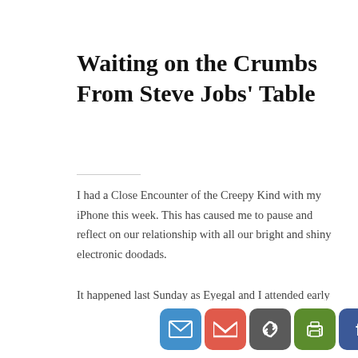Waiting on the Crumbs From Steve Jobs' Table
I had a Close Encounter of the Creepy Kind with my iPhone this week. This has caused me to pause and reflect on our relationship with all our bright and shiny electronic doodads.
It happened last Sunday as Eyegal and I attended early service at a local Episcopal parish, as is our habit from time to time. It was the First Sunday in Lent (Note to my Ba[ptist friends: that's kind of like Ash Wednesday pe…]